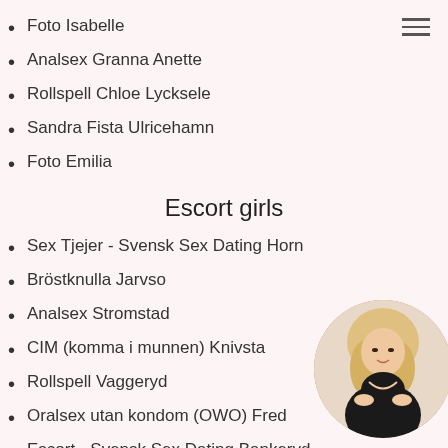Foto Isabelle
Analsex Granna Anette
Rollspell Chloe Lycksele
Sandra Fista Ulricehamn
Foto Emilia
Escort girls
Sex Tjejer - Svensk Sex Dating Horn
Bröstknulla Jarvso
Analsex Stromstad
CIM (komma i munnen) Knivsta
Rollspell Vaggeryd
Oralsex utan kondom (OWO) Fred
Escort - Svensk Sex Dating Bankeryd
Escort Tjejer - Escort Service i din stad, Arsta
[Figure (photo): Circular cropped photo of a blonde woman in black outfit]